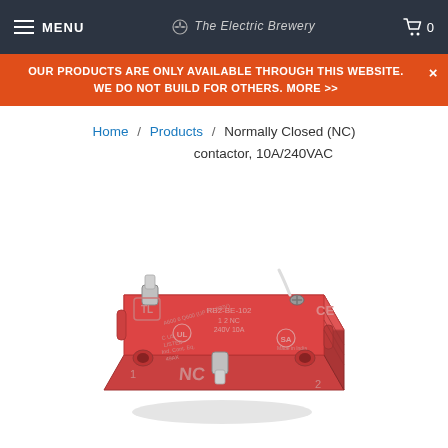MENU | The Electric Brewery | Cart 0
OUR PRODUCTS ARE ONLY AVAILABLE THROUGH THIS WEBSITE. WE DO NOT BUILD FOR OTHERS. MORE >>
Home / Products / Normally Closed (NC) contactor, 10A/240VAC
[Figure (photo): Red normally closed (NC) contactor block, model RB2-BE-102, rated 240V 10A, showing NC marking on front, UL and CE certifications, made in India label, with two screw terminals visible.]